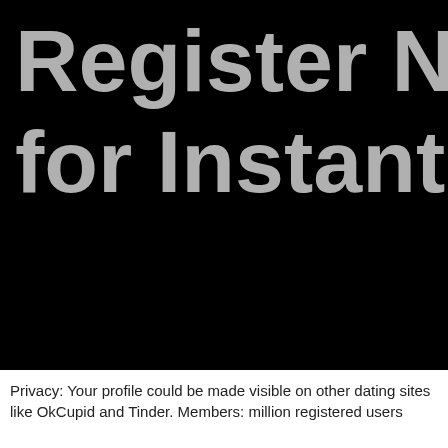[Figure (screenshot): Black background banner image with large grey bold text reading 'Register NO for Instant Ac' (text is cropped on right side)]
Privacy: Your profile could be made visible on other dating sites like OkCupid and Tinder. Members: million registered users